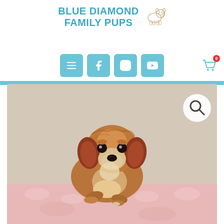[Figure (logo): Blue Diamond Family Pups logo with blue text and outline illustration of a fluffy dog]
[Figure (screenshot): Website navigation bar with four teal/blue rounded square icon buttons (hamburger menu, Facebook, Instagram, YouTube) and a shopping cart icon with badge showing 0]
[Figure (photo): Cute reddish-brown and white Cavapoo/Cockapoo puppy sitting on a pink fluffy blanket or rug, photographed against a beige background. A magnifying glass search icon appears in the upper right corner of the photo.]